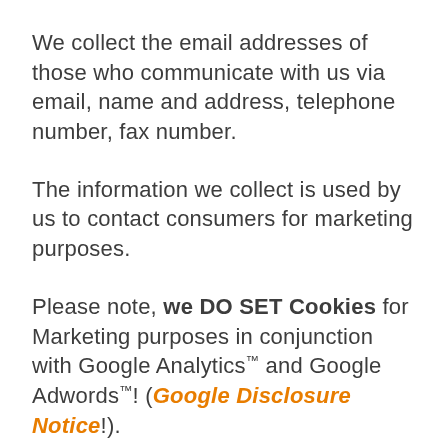We collect the email addresses of those who communicate with us via email, name and address, telephone number, fax number.
The information we collect is used by us to contact consumers for marketing purposes.
Please note, we DO SET Cookies for Marketing purposes in conjunction with Google Analytics™ and Google Adwords™! (Google Disclosure Notice!).